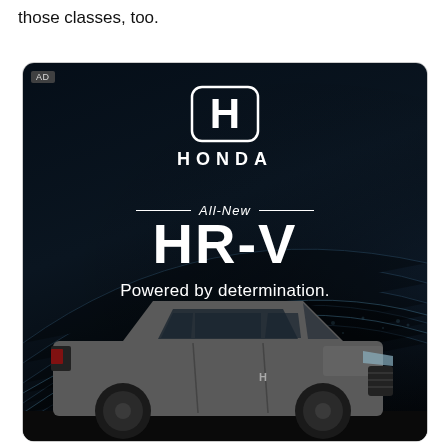those classes, too.
[Figure (photo): Honda HR-V advertisement on a dark background. Shows Honda logo (H emblem) with 'HONDA' text, 'All-New' label with decorative lines, 'HR-V' in large bold text, 'Powered by determination.' tagline, and a photo of a gray Honda HR-V SUV at the bottom. An 'AD' label appears in the top-left corner of the advertisement.]